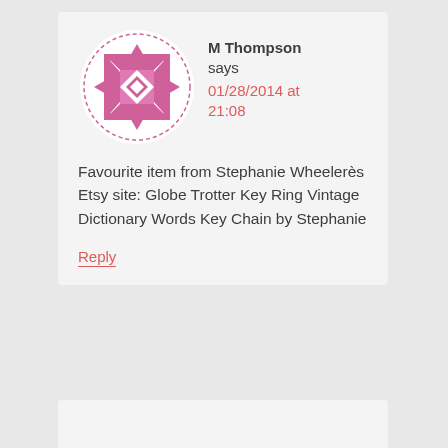[Figure (illustration): Circular avatar with pink geometric/quilt pattern on white background]
M Thompson says
01/28/2014 at 21:08
Favourite item from Stephanie Wheelerès Etsy site: Globe Trotter Key Ring Vintage Dictionary Words Key Chain by Stephanie
Reply